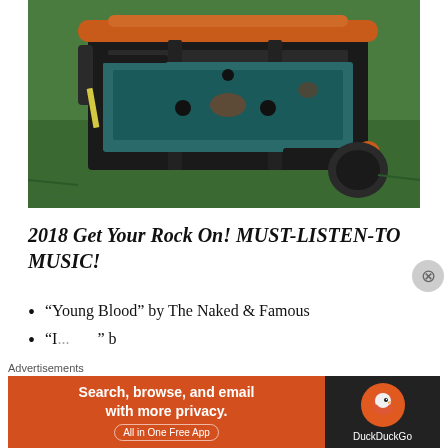[Figure (photo): Close-up photo of rusty lawnmower machinery/chassis on grass, showing dark metal frame, orange/rust colored components, and green grass background with vintage warm color tone]
2018 Get Your Rock On! MUST-LISTEN-TO MUSIC!
“Young Blood” by The Naked & Famous
“I...” by H... J... & The N...
Advertisements
[Figure (screenshot): DuckDuckGo advertisement banner: orange left side with text 'Search, browse, and email with more privacy. All in One Free App' and dark right side with DuckDuckGo logo]